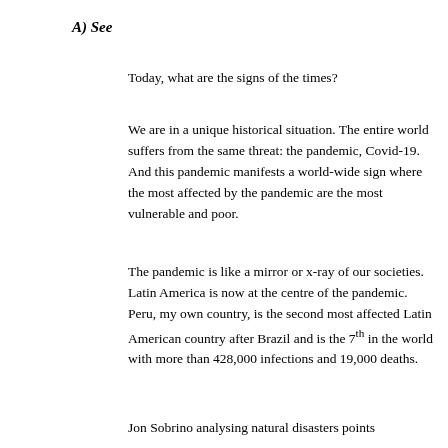A) See
Today, what are the signs of the times?
We are in a unique historical situation. The entire world suffers from the same threat: the pandemic, Covid-19. And this pandemic manifests a world-wide sign where the most affected by the pandemic are the most vulnerable and poor.
The pandemic is like a mirror or x-ray of our societies. Latin America is now at the centre of the pandemic. Peru, my own country, is the second most affected Latin American country after Brazil and is the 7th in the world with more than 428,000 infections and 19,000 deaths.
Jon Sobrino analysing natural disasters points